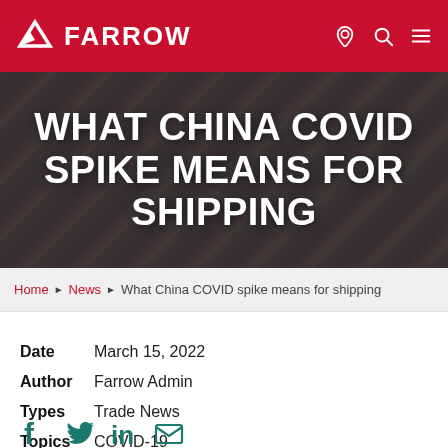FARROW
[Figure (photo): Dark background hero image of a person in protective gear, overlaid with large white bold text reading 'WHAT CHINA COVID SPIKE MEANS FOR SHIPPING']
WHAT CHINA COVID SPIKE MEANS FOR SHIPPING
Home > News > What China COVID spike means for shipping
Date: March 15, 2022
Author: Farrow Admin
Types: Trade News
Topics: COVID-19